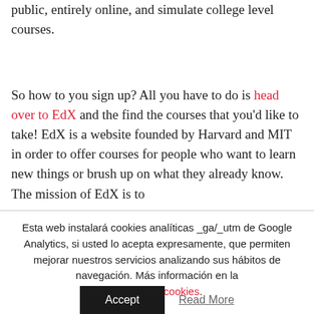public, entirely online, and simulate college level courses.
So how to you sign up? All you have to do is head over to EdX and the find the courses that you'd like to take! EdX is a website founded by Harvard and MIT in order to offer courses for people who want to learn new things or brush up on what they already know. The mission of EdX is to
Esta web instalará cookies analíticas _ga/_utm de Google Analytics, si usted lo acepta expresamente, que permiten mejorar nuestros servicios analizando sus hábitos de navegación. Más información en la Política de cookies.
Accept
Read More